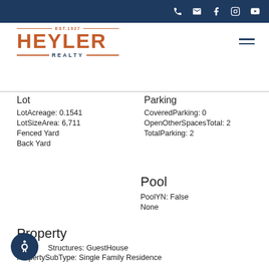Heyler Realty — navigation bar with phone, email, facebook, instagram, youtube icons
[Figure (logo): Heyler Realty logo with EST. 1927 and orange/navy branding]
Lot
LotAcreage: 0.1541
LotSizeArea: 6,711
Fenced Yard
Back Yard
Parking
CoveredParking: 0
OpenOtherSpacesTotal: 2
TotalParking: 2
Pool
PoolYN: False
None
Property
Structures: GuestHouse
PropertySubType: Single Family Residence